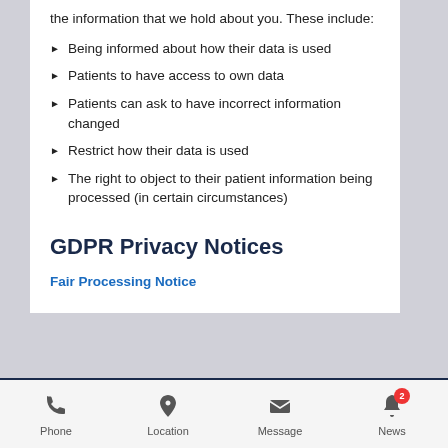the information that we hold about you. These include:
Being informed about how their data is used
Patients to have access to own data
Patients can ask to have incorrect information changed
Restrict how their data is used
The right to object to their patient information being processed (in certain circumstances)
GDPR Privacy Notices
Fair Processing Notice
Phone  Location  Message  News